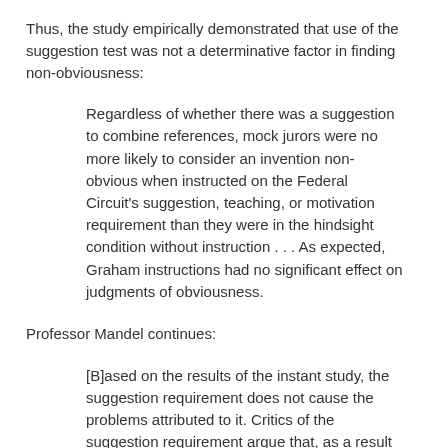Thus, the study empirically demonstrated that use of the suggestion test was not a determinative factor in finding non-obviousness:
Regardless of whether there was a suggestion to combine references, mock jurors were no more likely to consider an invention non-obvious when instructed on the Federal Circuit's suggestion, teaching, or motivation requirement than they were in the hindsight condition without instruction . . . As expected, Graham instructions had no significant effect on judgments of obviousness.
Professor Mandel continues:
[B]ased on the results of the instant study, the suggestion requirement does not cause the problems attributed to it. Critics of the suggestion requirement argue that, as a result of the suggestion test, inventions are improperly held to be non-obvious in situations where there is no explicit suggestion to combine elements in the prior art, even though the combination may have